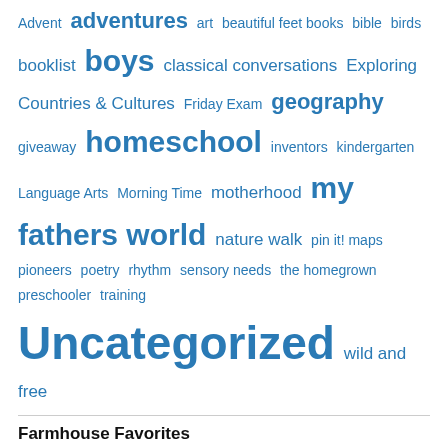Advent adventures art beautiful feet books bible birds booklist boys classical conversations Exploring Countries & Cultures Friday Exam geography giveaway homeschool inventors kindergarten Language Arts Morning Time motherhood my fathers world nature walk pin it! maps pioneers poetry rhythm sensory needs the homegrown preschooler training Uncategorized wild and free
Farmhouse Favorites
A Charlotte Mason Approach to Classical Conversations Cycle 2 Quarter 1
Classical Conversations
Book Lists